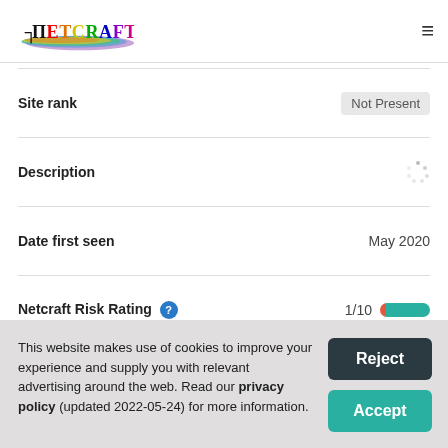[Figure (logo): Netcraft logo with rainbow-colored brush stroke and black serif/sans text reading NETCRAFT]
| Site rank | Not Present |
| Description |  |
| Date first seen | May 2020 |
| Netcraft Risk Rating | 1/10 |
| Primary language |  |
This website makes use of cookies to improve your experience and supply you with relevant advertising around the web. Read our privacy policy (updated 2022-05-24) for more information.